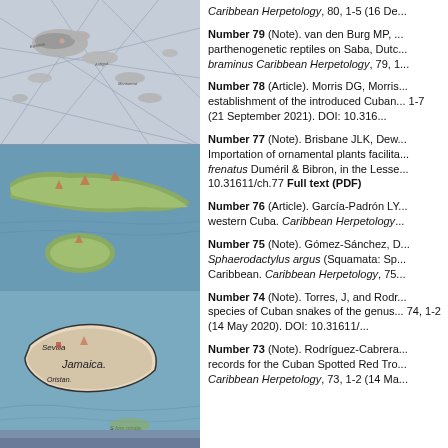[Figure (illustration): Historical map of Caribbean islands, top portion showing small islands with navigational lines]
[Figure (illustration): Historical map showing Cuba and Jamaica in green/brown tones]
[Figure (illustration): Historical map showing Jamaica labeled with 'Sevilla' and 'Jamaica' and 'Oristan', with surrounding ocean]
Caribbean Herpetology, 80, 1-5 (16 De...
Number 79 (Note). van den Burg MP, ... parthenogenetic reptiles on Saba, Dutc... braminus Caribbean Herpetology, 79, 1...
Number 78 (Article). Morris DG, Morris... establishment of the introduced Cuban... 1-7 (21 September 2021). DOI: 10.316...
Number 77 (Note). Brisbane JLK, Dew... Importation of ornamental plants facilita... frenatus Duméril & Bibron, in the Lesse... 10.31611/ch.77 Full text (PDF)
Number 76 (Article). García-Padrón LY... western Cuba. Caribbean Herpetology...
Number 75 (Note). Gómez-Sánchez, D... Sphaerodactylus argus (Squamata: Sp... Caribbean. Caribbean Herpetology, 75...
Number 74 (Note). Torres, J, and Rodr... species of Cuban snakes of the genus... 74, 1-2 (14 May 2020). DOI: 10.31611/...
Number 73 (Note). Rodríguez-Cabrera... records for the Cuban Spotted Red Tro... Caribbean Herpetology, 73, 1-2 (14 Ma...